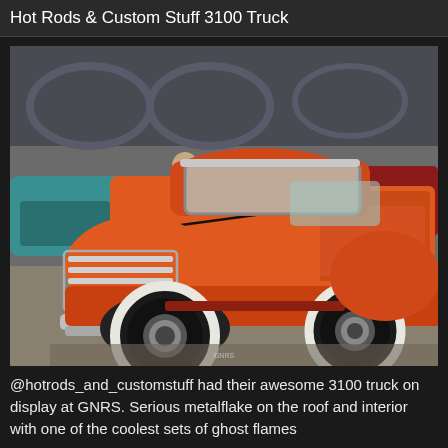Hot Rods & Custom Stuff 3100 Truck
[Figure (photo): Custom orange 1950s Chevrolet 3100 pickup truck on display at GNRS car show, viewed from front-left angle, featuring chrome grille, whitewall tires, lowered stance, in an indoor exhibition hall with other vehicles and people visible in background.]
@hotrods_and_customstuff had their awesome 3100 truck on display at GNRS. Serious metalflake on the roof and interior with one of the coolest sets of ghost flames